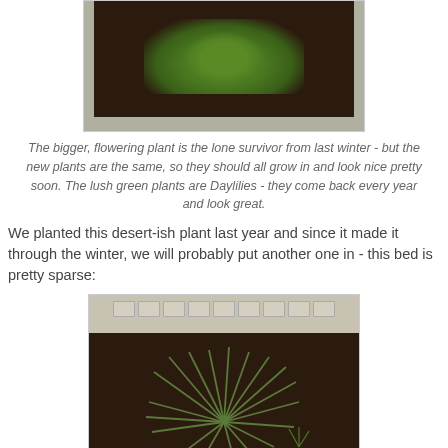[Figure (photo): Aerial view of a garden bed with dark soil, green plants in the center, and stone border edging around the perimeter.]
The bigger, flowering plant is the lone survivor from last winter - but the new plants are the same, so they should all grow in and look nice pretty soon.  The lush green plants are Daylilies - they come back every year and look great.
We planted this desert-ish plant last year and since it made it through the winter, we will probably put another one in - this bed is pretty sparse:
[Figure (photo): Close-up photo of a desert-like spiky grass plant growing in dark mulch soil, with a stone retaining wall edging visible at the top of the image.]